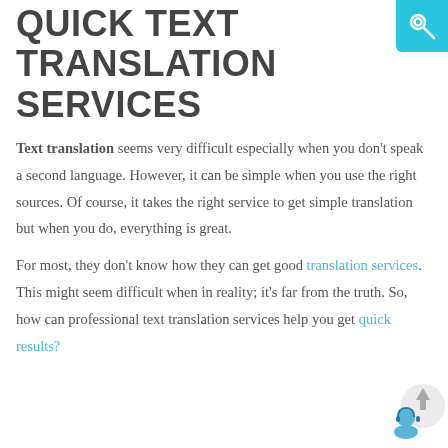QUICK TEXT TRANSLATION SERVICES
Text translation seems very difficult especially when you don't speak a second language. However, it can be simple when you use the right sources. Of course, it takes the right service to get simple translation but when you do, everything is great.
For most, they don't know how they can get good translation services. This might seem difficult when in reality; it's far from the truth. So, how can professional text translation services help you get quick results?
[Figure (illustration): Cyan/teal key icon button in top right corner, and a chat support widget (person with headset) with an up arrow in bottom right corner]